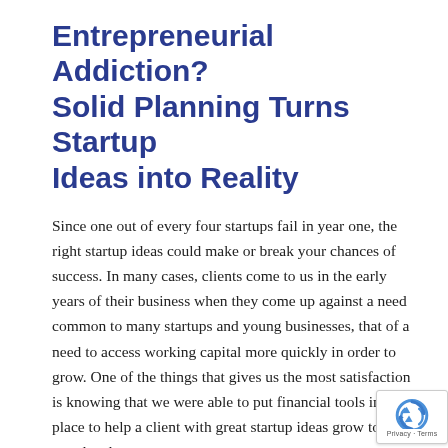Entrepreneurial Addiction? Solid Planning Turns Startup Ideas into Reality
Since one out of every four startups fail in year one, the right startup ideas could make or break your chances of success. In many cases, clients come to us in the early years of their business when they come up against a need common to many startups and young businesses, that of a need to access working capital more quickly in order to grow. One of the things that gives us the most satisfaction is knowing that we were able to put financial tools into place to help a client with great startup ideas grow to the next level.

While we do not provide true start-up financing,